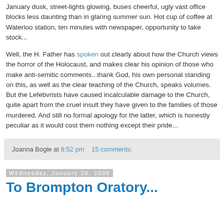January dusk, street-lights glowing, buses cheerful, ugly vast office blocks less daunting than in glaring summer sun. Hot cup of coffee at Waterloo station, ten minutes with newspaper, opportunity to take stock...
Well, the H. Father has spoken out clearly about how the Church views the horror of the Holocaust, and makes clear his opinion of those who make anti-semitic comments...thank God, his own personal standing on this, as well as the clear teaching of the Church, speaks volumes. But the Lefebvrists have caused incalculable damage to the Church, quite apart from the cruel insult they have given to the families of those murdered. And still no formal apology for the latter, which is honestly peculiar as it would cost them nothing except their pride...
Joanna Bogle at 8:52 pm   15 comments:
Wednesday, January 28, 2009
To Brompton Oratory...